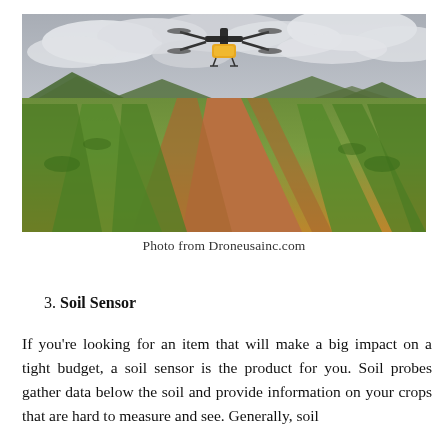[Figure (photo): An agricultural drone with a yellow body hovering above rows of green crops in a farm field, with mountains and cloudy sky in the background.]
Photo from Droneusainc.com
3. Soil Sensor
If you're looking for an item that will make a big impact on a tight budget, a soil sensor is the product for you. Soil probes gather data below the soil and provide information on your crops that are hard to measure and see. Generally, soil